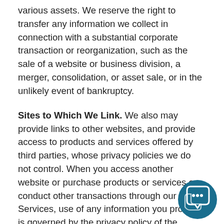various assets. We reserve the right to transfer any information we collect in connection with a substantial corporate transaction or reorganization, such as the sale of a website or business division, a merger, consolidation, or asset sale, or in the unlikely event of bankruptcy.
Sites to Which We Link. We also may provide links to other websites, and provide access to products and services offered by third parties, whose privacy policies we do not control. When you access another website or purchase products or services or conduct other transactions through our Services, use of any information you provide is governed by the privacy policy of the operator of the site you are visiting or the provider of such products or se... When you provide information in the course of obtaining products or services through our Se...
[Figure (illustration): Teal/dark blue circular chat bubble icon with two speech bubbles containing ellipsis dots, positioned in bottom-right corner of the page.]